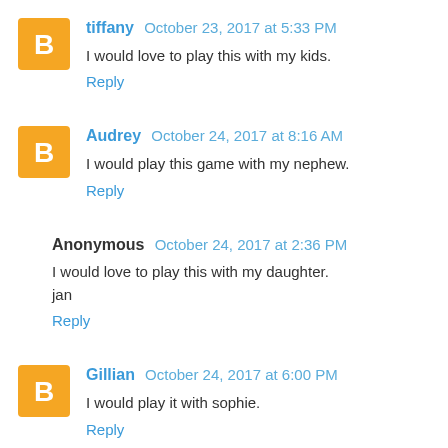tiffany  October 23, 2017 at 5:33 PM
I would love to play this with my kids.
Reply
Audrey  October 24, 2017 at 8:16 AM
I would play this game with my nephew.
Reply
Anonymous  October 24, 2017 at 2:36 PM
I would love to play this with my daughter.
jan
Reply
Gillian  October 24, 2017 at 6:00 PM
I would play it with sophie.
Reply